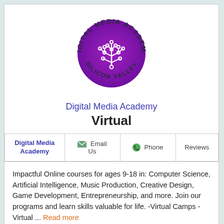[Figure (logo): Digital Media Academy Silicon Valley circular logo with gradient purple background and white circuit tree design]
Digital Media Academy
Virtual
| Digital Media Academy | Email Us | Phone | Reviews |
| --- | --- | --- | --- |
Impactful Online courses for ages 9-18 in: Computer Science, Artificial Intelligence, Music Production, Creative Design, Game Development, Entrepreneurship, and more. Join our programs and learn skills valuable for life. -Virtual Camps - Virtual ... Read more